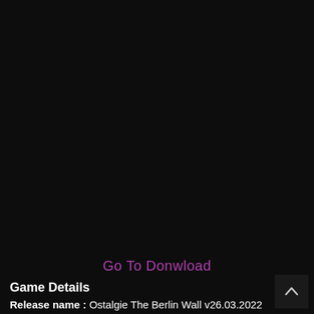Go To Donwload
Game Details
Release name : Ostalgie The Berlin Wall v26.03.2022